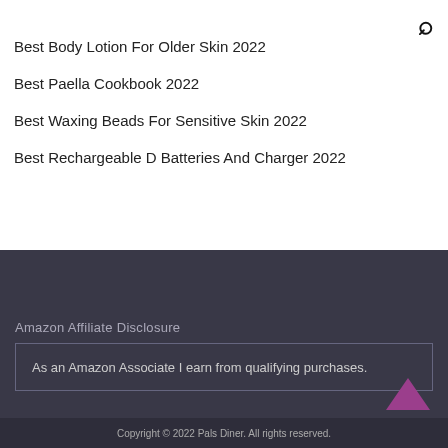Best Body Lotion For Older Skin 2022
Best Paella Cookbook 2022
Best Waxing Beads For Sensitive Skin 2022
Best Rechargeable D Batteries And Charger 2022
Amazon Affiliate Disclosure
As an Amazon Associate I earn from qualifying purchases.
Copyright © 2022 Pals Diner. All rights reserved.